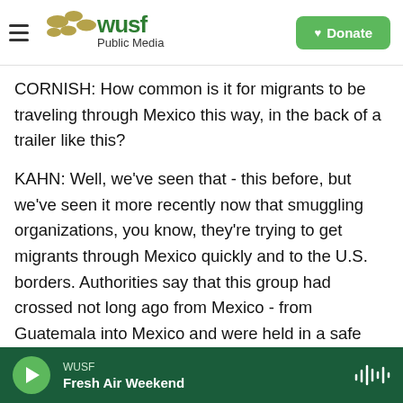WUSF Public Media — Donate
CORNISH: How common is it for migrants to be traveling through Mexico this way, in the back of a trailer like this?
KAHN: Well, we've seen that - this before, but we've seen it more recently now that smuggling organizations, you know, they're trying to get migrants through Mexico quickly and to the U.S. borders. Authorities say that this group had crossed not long ago from Mexico - from Guatemala into Mexico and were held in a safe house in the southern state of Chiapas and yesterday packed into that trailer headed north. So
WUSF  Fresh Air Weekend